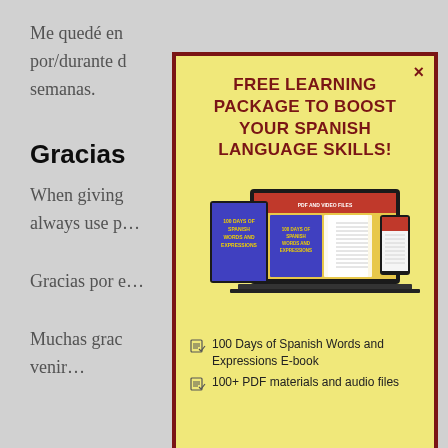Me quedé en… por/durante … semanas.
Gracias
When giving … always use p…
Gracias por e…
Muchas grac… venir…
FREE LEARNING PACKAGE TO BOOST YOUR SPANISH LANGUAGE SKILLS!
[Figure (illustration): Promotional image showing tablet, laptop, and phone displaying '100 Days of Spanish Words and Expressions' e-book covers]
100 Days of Spanish Words and Expressions E-book
100+ PDF materials and audio files